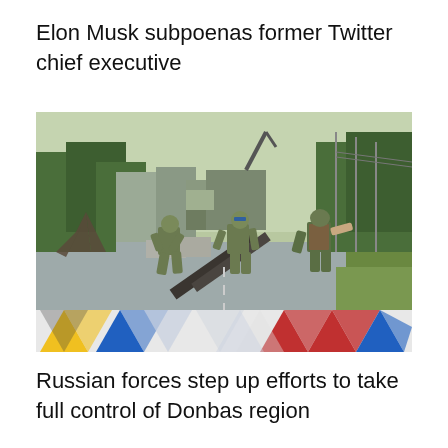Elon Musk subpoenas former Twitter chief executive
[Figure (photo): Ukrainian soldiers in camouflage uniforms and helmets handling metal anti-tank obstacles on a road, with a truck in the background and trees lining the road. A decorative banner of colorful triangles in blue, yellow, and red is overlaid at the bottom of the image.]
Russian forces step up efforts to take full control of Donbas region